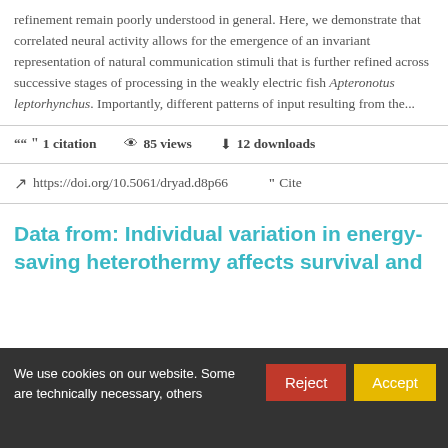refinement remain poorly understood in general. Here, we demonstrate that correlated neural activity allows for the emergence of an invariant representation of natural communication stimuli that is further refined across successive stages of processing in the weakly electric fish Apteronotus leptorhynchus. Importantly, different patterns of input resulting from the...
1 citation   85 views   12 downloads
https://doi.org/10.5061/dryad.d8p66   Cite
Data from: Individual variation in energy-saving heterothermy affects survival and
We use cookies on our website. Some are technically necessary, others help us...   Reject   Accept